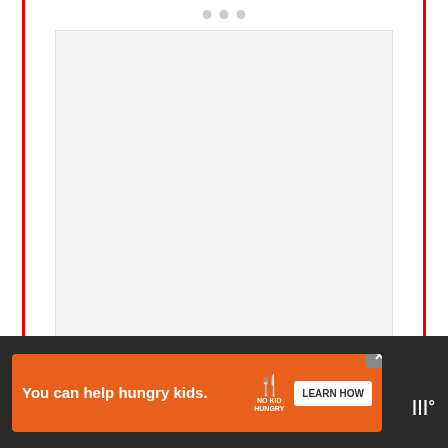[Figure (photo): Large image placeholder area with light gray background, positioned centrally on the page. Three carousel dots visible at top center.]
Related Posts
Benefits of drinking milk before
[Figure (screenshot): What's Next card overlay showing a food image (mashed potatoes) with text 'WHAT'S NEXT → What happens if you eat...']
[Figure (screenshot): Orange advertisement banner reading 'You can help hungry kids.' with No Kid Hungry logo and LEARN HOW button, with close X button. Dark bottom navigation bar with Wired logo.]